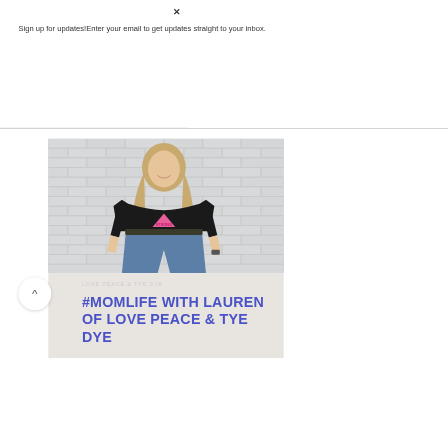×
Sign up for updates!Enter your email to get updates straight to your inbox.
Subscribe
[Figure (photo): A young blonde woman standing in front of a white brick wall, wearing a black crop t-shirt with a pink triangle graphic and blue jeans, smiling at the camera.]
#MOMLIFE WITH LAUREN OF LOVE PEACE & TYE DYE